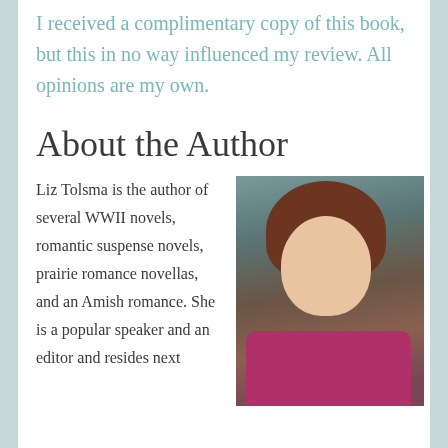I received a complimentary copy of this book, but this in no way influenced my review. All opinions are my own.
About the Author
Liz Tolsma is the author of several WWII novels, romantic suspense novels, prairie romance novellas, and an Amish romance. She is a popular speaker and an editor and resides next
[Figure (photo): Portrait photo of Liz Tolsma, a woman with short brown hair wearing a pink/magenta blazer, smiling, against a dark background]